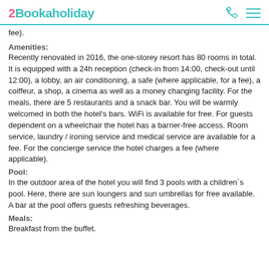2Bookaholiday
fee).
Amenities:
Recently renovated in 2016, the one-storey resort has 80 rooms in total. It is equipped with a 24h reception (check-in from 14:00, check-out until 12:00), a lobby, an air conditioning, a safe (where applicable, for a fee), a coiffeur, a shop, a cinema as well as a money changing facility. For the meals, there are 5 restaurants and a snack bar. You will be warmly welcomed in both the hotel's bars. WiFi is available for free. For guests dependent on a wheelchair the hotel has a barrier-free access. Room service, laundry / ironing service and medical service are available for a fee. For the concierge service the hotel charges a fee (where applicable).
Pool:
In the outdoor area of the hotel you will find 3 pools with a children´s pool. Here, there are sun loungers and sun umbrellas for free available. A bar at the pool offers guests refreshing beverages.
Meals:
Breakfast from the buffet.